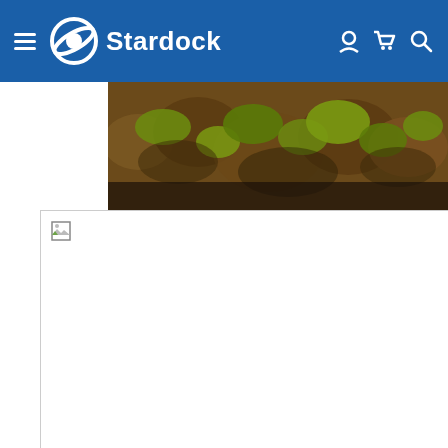Stardock
[Figure (screenshot): Volcanic terrain map image strip showing mossy rocky landscape]
[Figure (photo): Broken/missing image placeholder with small broken image icon]
Name: Round In
Map Size: Large
Volcanic terrain setting